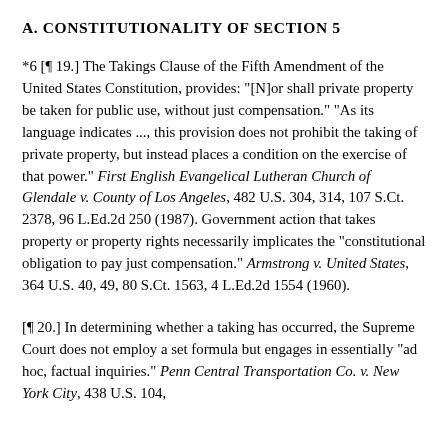A. CONSTITUTIONALITY OF SECTION 5
*6 [¶ 19.] The Takings Clause of the Fifth Amendment of the United States Constitution, provides: "[N]or shall private property be taken for public use, without just compensation." "As its language indicates ..., this provision does not prohibit the taking of private property, but instead places a condition on the exercise of that power." First English Evangelical Lutheran Church of Glendale v. County of Los Angeles, 482 U.S. 304, 314, 107 S.Ct. 2378, 96 L.Ed.2d 250 (1987). Government action that takes property or property rights necessarily implicates the "constitutional obligation to pay just compensation." Armstrong v. United States, 364 U.S. 40, 49, 80 S.Ct. 1563, 4 L.Ed.2d 1554 (1960).
[¶ 20.] In determining whether a taking has occurred, the Supreme Court does not employ a set formula but engages in essentially "ad hoc, factual inquiries." Penn Central Transportation Co. v. New York City, 438 U.S. 104, 124, 98 S.Ct. 2646, 57 L.Ed.2d 631 (1978). The